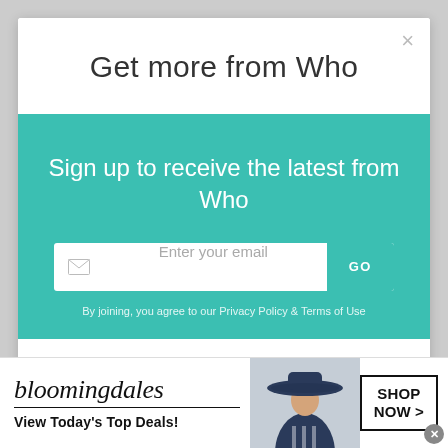Get more from Who
Sign up to receive the latest from Who
Enter your email
GO
By joining, you agree to our Privacy Policy & Terms of Use
[Figure (screenshot): Bloomingdales advertisement banner with logo, tagline 'View Today's Top Deals!', woman in hat, and SHOP NOW button]